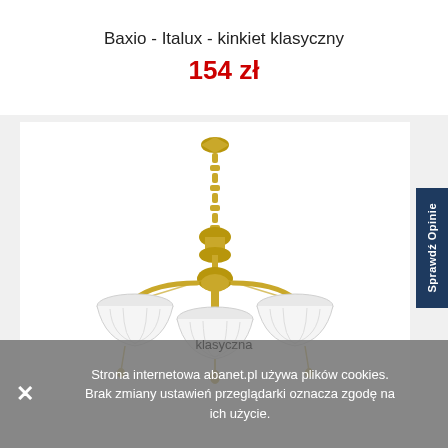Baxio - Italux - kinkiet klasyczny
154 zł
[Figure (photo): A classic 3-arm chandelier with brass/gold finish and white glass shades, hanging from a chain]
Sprawdź Opinie
Strona internetowa abanet.pl używa plików cookies. Brak zmiany ustawień przeglądarki oznacza zgodę na ich użycie.
klasyczna